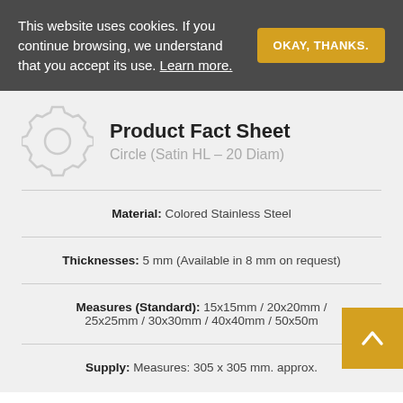This website uses cookies. If you continue browsing, we understand that you accept its use. Learn more.
OKAY, THANKS.
Product Fact Sheet
Circle (Satin HL – 20 Diam)
Material: Colored Stainless Steel
Thicknesses: 5 mm (Available in 8 mm on request)
Measures (Standard): 15x15mm / 20x20mm / 25x25mm / 30x30mm / 40x40mm / 50x50m
Supply: Measures: 305 x 305 mm. approx.